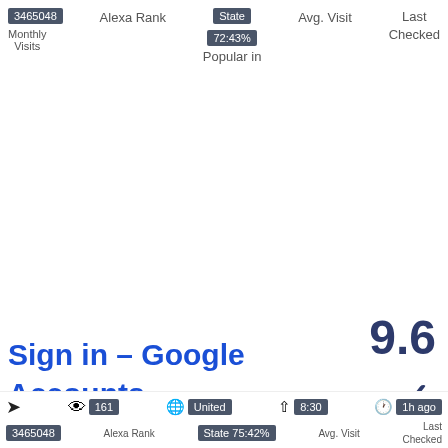3465048  Alexa Rank  State  Avg. Visit  Last Checked
Monthly Visits  72:43%  Popular in
3
9.6
Sign in – Google Accounts
MORE INFO
161  United  8:30  1h ago
3465048  Alexa Rank  State 75:42%  Avg. Visit  Last Checked